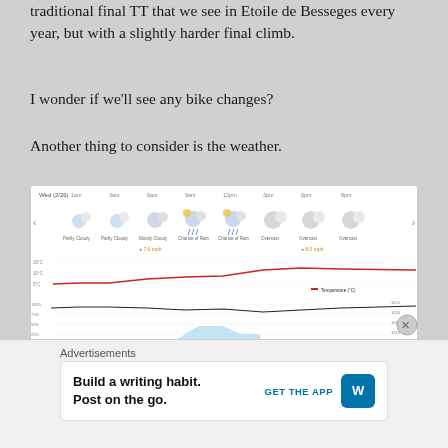traditional final TT that we see in Etoile de Besseges every year, but with a slightly harder final climb.
I wonder if we'll see any bike changes?
Another thing to consider is the weather.
[Figure (infographic): Weather forecast widget showing hourly conditions for Wednesday. Icons show Partly Cloudy (1am, 3am), Mostly Cloudy (6am), Chance of Rain (9am, 12pm), Overcast (3pm, 6pm, 8pm). A red temperature line rises from ~5°C to ~15°C. A black pressure line (~1020hPa). A light blue area chart shows chance of precipitation peaking around 9am-12pm. Wind speed bars shown at bottom. Wind annotations: 7.6 mph and 8.0 rpm. Legend: Temperature (°C), Chance of Precip. (%), Chance of Snow (%), Pressure (hPa), Wind Speed.]
Advertisements
[Figure (other): Advertisement for WordPress app: 'Build a writing habit. Post on the go.' with GET THE APP button and WordPress logo.]